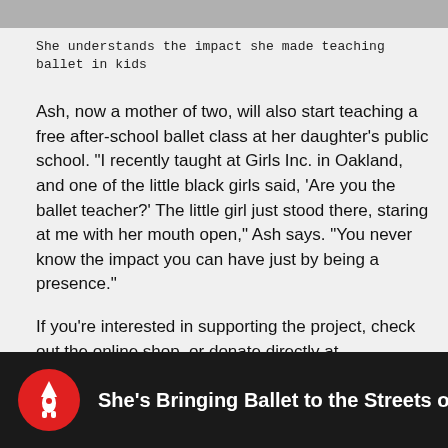[Figure (photo): Partial top image strip, cropped photo at top of page]
She understands the impact she made teaching ballet in kids
Ash, now a mother of two, will also start teaching a free after-school ballet class at her daughter's public school. "I recently taught at Girls Inc. in Oakland, and one of the little black girls said, 'Are you the ballet teacher?' The little girl just stood there, staring at me with her mouth open," Ash says. "You never know the impact you can have just by being a presence."
If you're interested in supporting the project, check out the online shop, or donate directly at swandreamsproject.org.
[Figure (screenshot): Video thumbnail with red rocket icon and text: She's Bringing Ballet to the Streets of New York]